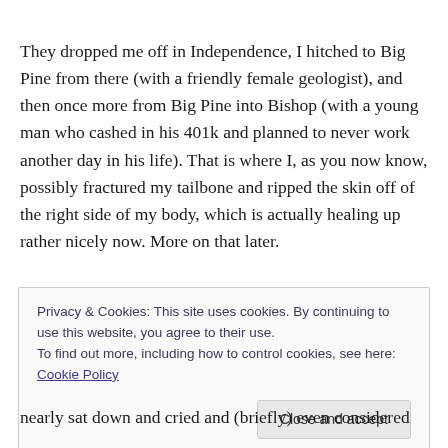They dropped me off in Independence, I hitched to Big Pine from there (with a friendly female geologist), and then once more from Big Pine into Bishop (with a young man who cashed in his 401k and planned to never work another day in his life). That is where I, as you now know, possibly fractured my tailbone and ripped the skin off of the right side of my body, which is actually healing up rather nicely now. More on that later.
Privacy & Cookies: This site uses cookies. By continuing to use this website, you agree to their use.
To find out more, including how to control cookies, see here: Cookie Policy
nearly sat down and cried and (briefly) even considered